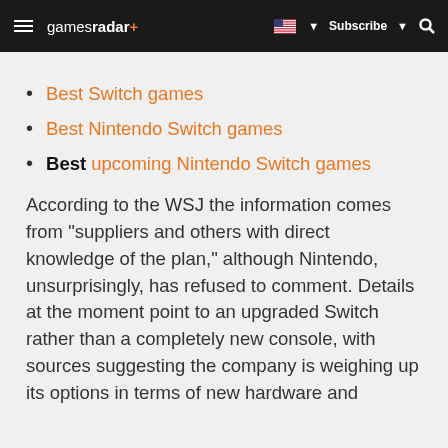gamesradar+ | Subscribe | Search
Best Switch games
Best Nintendo Switch games
Best upcoming Nintendo Switch games
According to the WSJ the information comes from "suppliers and others with direct knowledge of the plan," although Nintendo, unsurprisingly, has refused to comment. Details at the moment point to an upgraded Switch rather than a completely new console, with sources suggesting the company is weighing up its options in terms of new hardware and